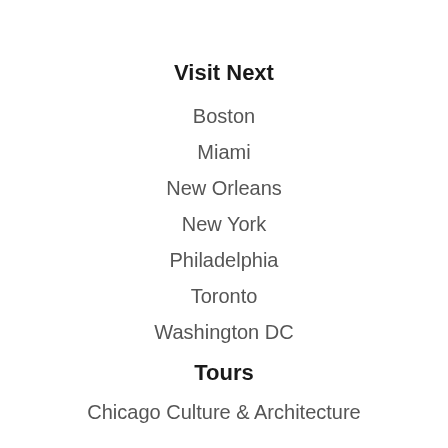Visit Next
Boston
Miami
New Orleans
New York
Philadelphia
Toronto
Washington DC
Tours
Chicago Culture & Architecture